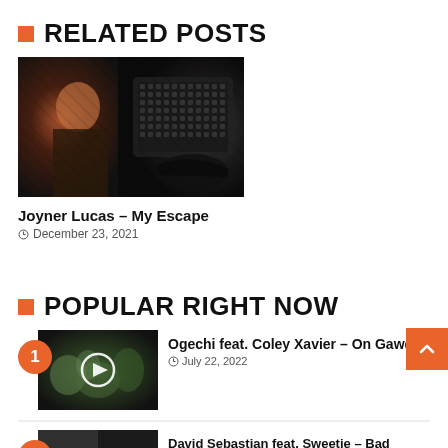RELATED POSTS
[Figure (photo): Photo of a man (Joyner Lucas) in front of a car grille, wearing jewelry and a pendant]
Joyner Lucas – My Escape
December 23, 2021
POPULAR RIGHT NOW
[Figure (photo): Numbered item 1 with thumbnail video image of crowd scene for Ogechi feat. Coley Xavier – On Gawd]
Ogechi feat. Coley Xavier – On Gawd
July 22, 2022
[Figure (photo): Numbered item 2 thumbnail for David Sebastian feat. Sweetie – Bad]
David Sebastian feat. Sweetie – Bad